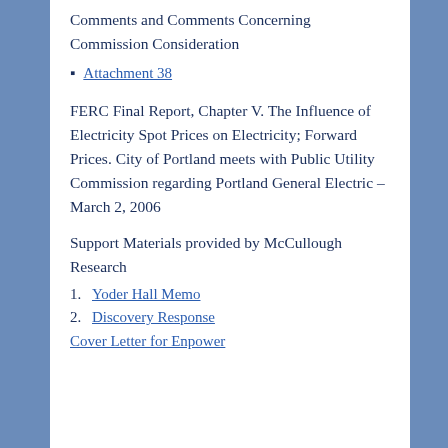Comments and Comments Concerning Commission Consideration
Attachment 38
FERC Final Report, Chapter V. The Influence of Electricity Spot Prices on Electricity; Forward Prices. City of Portland meets with Public Utility Commission regarding Portland General Electric – March 2, 2006
Support Materials provided by McCullough Research
1. Yoder Hall Memo
2. Discovery Response Cover Letter for Enpower